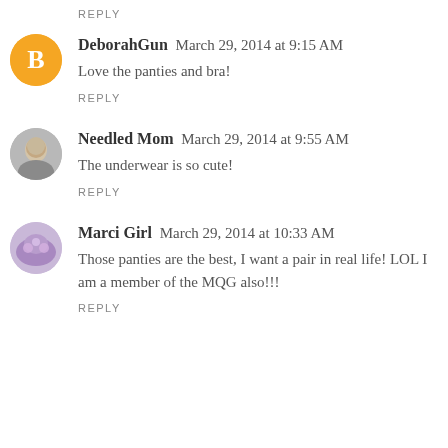REPLY
DeborahGun  March 29, 2014 at 9:15 AM
Love the panties and bra!
REPLY
Needled Mom  March 29, 2014 at 9:55 AM
The underwear is so cute!
REPLY
Marci Girl  March 29, 2014 at 10:33 AM
Those panties are the best, I want a pair in real life! LOL I am a member of the MQG also!!!
REPLY